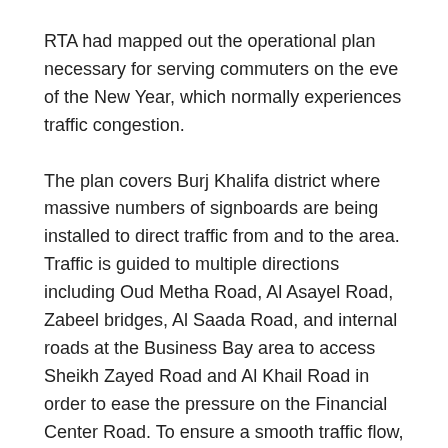RTA had mapped out the operational plan necessary for serving commuters on the eve of the New Year, which normally experiences traffic congestion.
The plan covers Burj Khalifa district where massive numbers of signboards are being installed to direct traffic from and to the area. Traffic is guided to multiple directions including Oud Metha Road, Al Asayel Road, Zabeel bridges, Al Saada Road, and internal roads at the Business Bay area to access Sheikh Zayed Road and Al Khail Road in order to ease the pressure on the Financial Center Road. To ensure a smooth traffic flow, light signals on the Financial Center Road and Mohammed bin Rashid Boulevard would be monitored and controlled to ensure the maximum possible traffic flow at peak hours.
On the New Year's Eve, RTA will close Mohammed bin